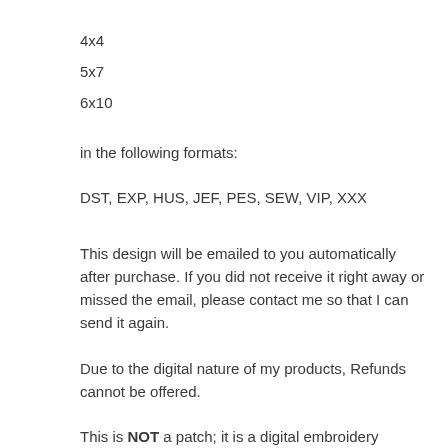4x4
5x7
6x10
in the following formats:
DST, EXP, HUS, JEF, PES, SEW, VIP, XXX
This design will be emailed to you automatically after purchase. If you did not receive it right away or missed the email, please contact me so that I can send it again.
Due to the digital nature of my products, Refunds cannot be offered.
This is NOT a patch; it is a digital embroidery design for embroidery machines. This is also NOT a sewing